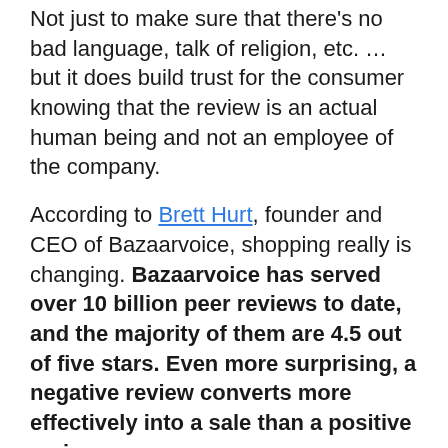Not just to make sure that there's no bad language, talk of religion, etc. … but it does build trust for the consumer knowing that the review is an actual human being and not an employee of the company.
According to Brett Hurt, founder and CEO of Bazaarvoice, shopping really is changing. Bazaarvoice has served over 10 billion peer reviews to date, and the majority of them are 4.5 out of five stars. Even more surprising, a negative review converts more effectively into a sale than a positive review.
You should read that last sentence again. How is that possible?